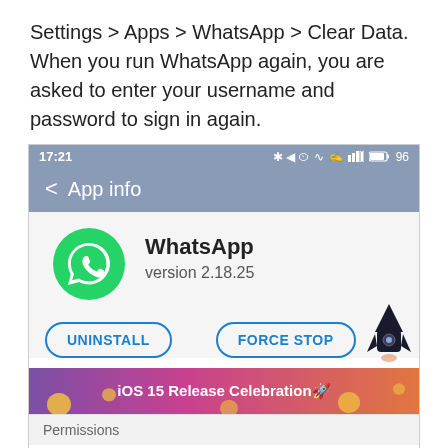Settings > Apps > WhatsApp > Clear Data. When you run WhatsApp again, you are asked to enter your username and password to sign in again.
[Figure (screenshot): Android App Info screen for WhatsApp showing status bar with time 17:21, App info header with back arrow, WhatsApp icon and version 2.18.25, UNINSTALL and FORCE STOP buttons, an iOS 15 Release Celebration banner overlay, Permissions section, and Permission details heading.]